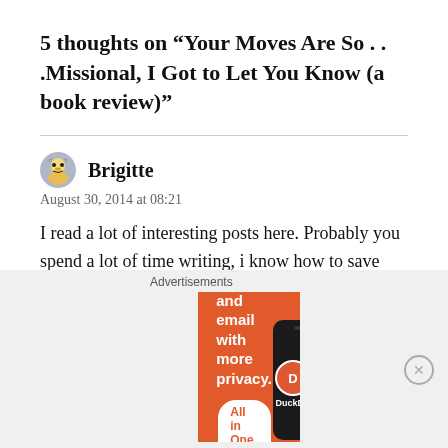5 thoughts on “Your Moves Are So . . .Missional, I Got to Let You Know (a book review)”
Brigitte
August 30, 2014 at 08:21
I read a lot of interesting posts here. Probably you spend a lot of time writing, i know how to save you a lot of time.
[Figure (screenshot): DuckDuckGo advertisement banner with orange background reading 'Search, browse, and email with more privacy. All in One Free App' with a phone graphic and DuckDuckGo logo]